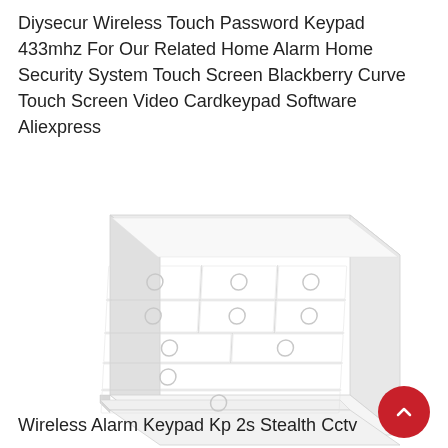Diysecur Wireless Touch Password Keypad 433mhz For Our Related Home Alarm Home Security System Touch Screen Blackberry Curve Touch Screen Video Cardkeypad Software Aliexpress
[Figure (photo): A white chest of drawers / dresser shown from a slight angle, rendered in very light white-on-white style. The dresser has multiple drawers with round knob handles arranged in rows.]
Wireless Alarm Keypad Kp 2s Stealth Cctv